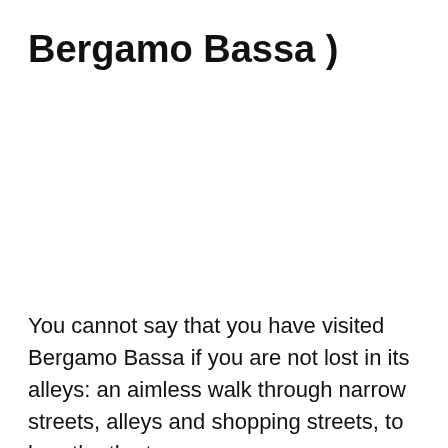Bergamo Bassa )
You cannot say that you have visited Bergamo Bassa if you are not lost in its alleys: an aimless walk through narrow streets, alleys and shopping streets, to breathe the true